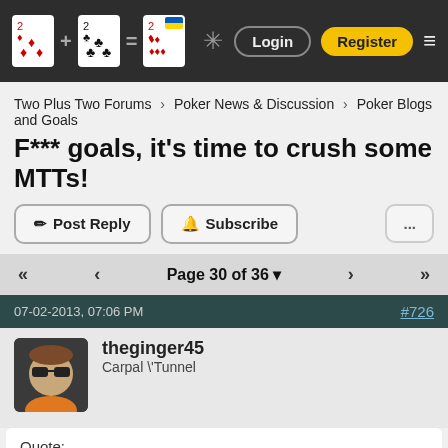Two Plus Two Forums site header with Login and Register buttons
Two Plus Two Forums > Poker News & Discussion > Poker Blogs and Goals
F*** goals, it's time to crush some MTTs!
Post Reply  Subscribe  ...
Page 30 of 36
07-02-2013, 07:06 PM  #726
theginger45
Carpal \Tunnel
Quote:
Originally Posted by MoViN.tArGeT
see my location ~.~
i didnt read ur thread i just looked on sharkscope and I